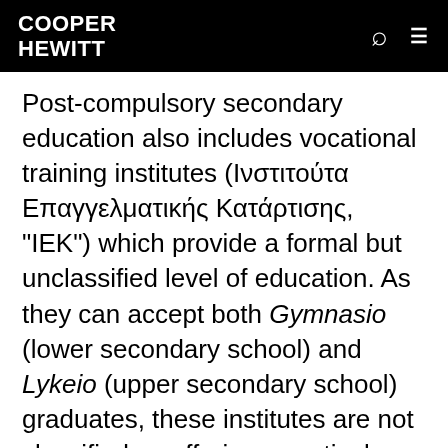COOPER HEWITT
Post-compulsory secondary education also includes vocational training institutes (Ινστιτούτα Επαγγελματικής Κατάρτισης, "IEK") which provide a formal but unclassified level of education. As they can accept both Gymnasio (lower secondary school) and Lykeio (upper secondary school) graduates, these institutes are not classified as offering a particular level of education.
Public higher education is divided into